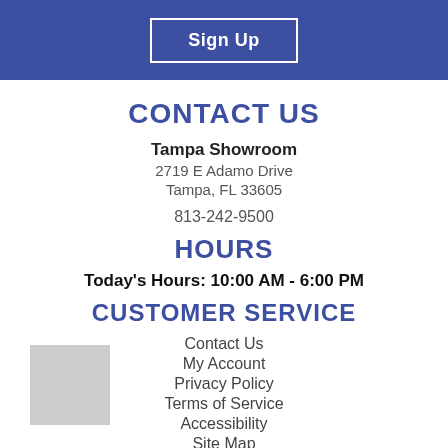Sign Up
CONTACT US
Tampa Showroom
2719 E Adamo Drive
Tampa, FL 33605
813-242-9500
HOURS
Today's Hours: 10:00 AM – 6:00 PM
CUSTOMER SERVICE
Contact Us
My Account
Privacy Policy
Terms of Service
Accessibility
Site Map